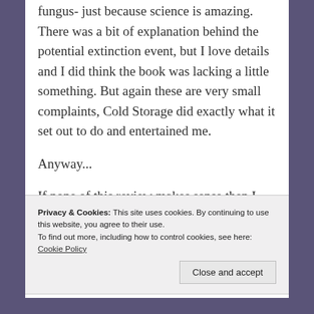fungus- just because science is amazing. There was a bit of explanation behind the potential extinction event, but I love details and I did think the book was lacking a little something. But again these are very small complaints, Cold Storage did exactly what it set out to do and entertained me.
Anyway...
If none of this review makes sense then I suggest you go and read Cold Storage by David Koepp, it was an easy read, an entertaining read and a movie I want to see if it ever gets to that stage.
Privacy & Cookies: This site uses cookies. By continuing to use this website, you agree to their use.
To find out more, including how to control cookies, see here: Cookie Policy
Close and accept